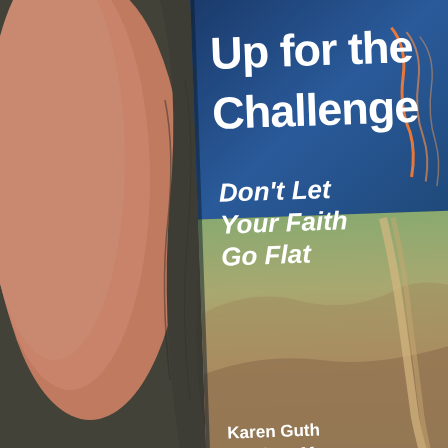[Figure (photo): A person in a dark grey sleeveless shirt holding a book titled 'Up for the Challenge: Don't Let Your Faith Go Flat' by Karen Guth and Matthew M. The book cover features blue and earth-tone imagery with a road/path design. The book is partially cropped on the right side.]